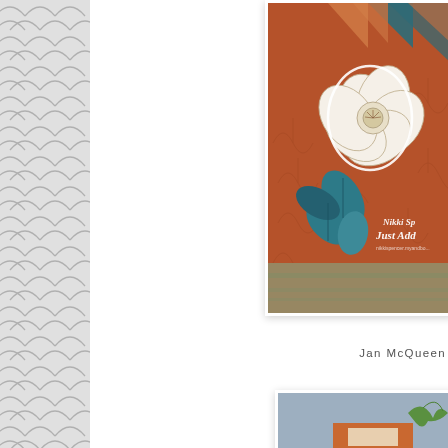[Figure (illustration): Decorative scallop/fish-scale pattern panel in light grey on the left side of the page]
[Figure (photo): Craft handmade card featuring a large white flower with teal/blue leaves on a rust/terracotta orange background with embossed floral pattern. Text overlay reads 'Nikki Sp... Just Add...' with a website URL. Card is photographed on a wooden surface.]
Jan McQueen
[Figure (photo): Partial view of a second craft card on a blue-grey background with an orange element and green foliage visible at the bottom of the page.]